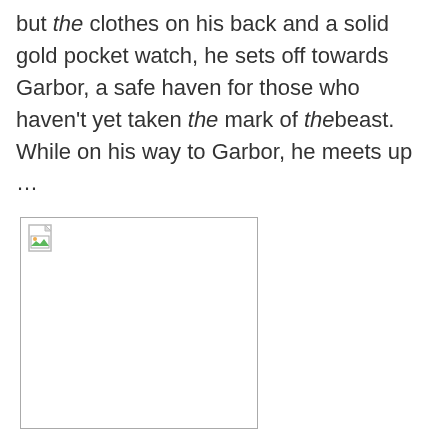but the clothes on his back and a solid gold pocket watch, he sets off towards Garbor, a safe haven for those who haven't yet taken the mark of thebeast. While on his way to Garbor, he meets up …
[Figure (other): Broken image placeholder — a small image icon with a border, content not loaded]
SEEKERS AND DECEIVERS: Which One are You? It Is Time to Join the Fight!
There grew an element in the valley that did not want to be ruled by the Light of the Word. Over time, they convinced the people to reject it. As they started to reject this Light, the valley grew dim and